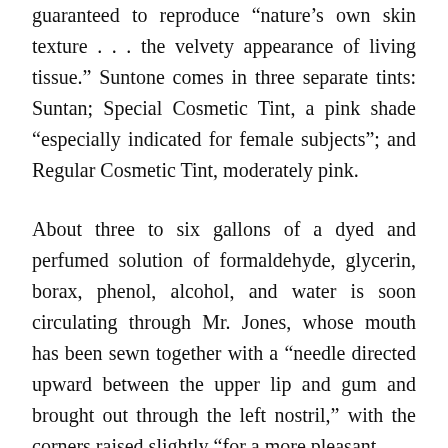guaranteed to reproduce “nature’s own skin texture . . . the velvety appearance of living tissue.” Suntone comes in three separate tints: Suntan; Special Cosmetic Tint, a pink shade “especially indicated for female subjects”; and Regular Cosmetic Tint, moderately pink.
About three to six gallons of a dyed and perfumed solution of formaldehyde, glycerin, borax, phenol, alcohol, and water is soon circulating through Mr. Jones, whose mouth has been sewn together with a “needle directed upward between the upper lip and gum and brought out through the left nostril,” with the corners raised slightly “for a more pleasant